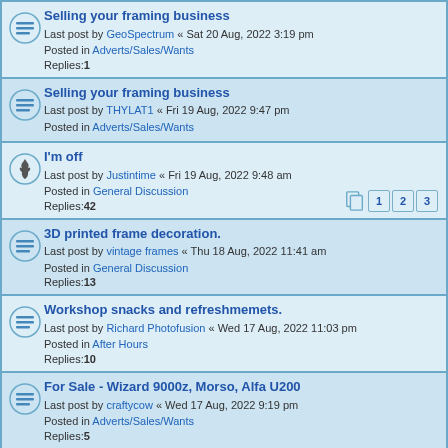Selling your framing business
Last post by GeoSpectrum « Sat 20 Aug, 2022 3:19 pm
Posted in Adverts/Sales/Wants
Replies: 1
Selling your framing business
Last post by THYLAT1 « Fri 19 Aug, 2022 9:47 pm
Posted in Adverts/Sales/Wants
I'm off
Last post by Justintime « Fri 19 Aug, 2022 9:48 am
Posted in General Discussion
Replies: 42
3D printed frame decoration.
Last post by vintage frames « Thu 18 Aug, 2022 11:41 am
Posted in General Discussion
Replies: 13
Workshop snacks and refreshmemets.
Last post by Richard Photofusion « Wed 17 Aug, 2022 11:03 pm
Posted in After Hours
Replies: 10
For Sale - Wizard 9000z, Morso, Alfa U200
Last post by craftycow « Wed 17 Aug, 2022 9:19 pm
Posted in Adverts/Sales/Wants
Replies: 5
Whats the best thread for lacing cross stitches?
Last post by Fellows Framing « Wed 17 Aug, 2022 7:13 pm
Posted in Help!
Replies: 3